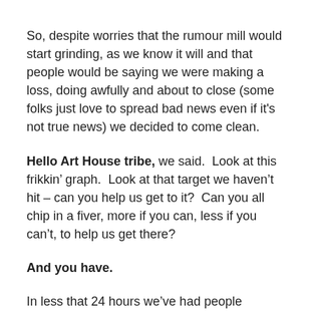So, despite worries that the rumour mill would start grinding, as we know it will and that people would be saying we were making a loss, doing awfully and about to close (some folks just love to spread bad news even if it's not true news) we decided to come clean.
Hello Art House tribe, we said.  Look at this frikkin’ graph.  Look at that target we haven’t hit – can you help us get to it?  Can you all chip in a fiver, more if you can, less if you can’t, to help us get there?
And you have.
In less that 24 hours we’ve had people popping in with fivers, tenners, more and our Paypal donation account is